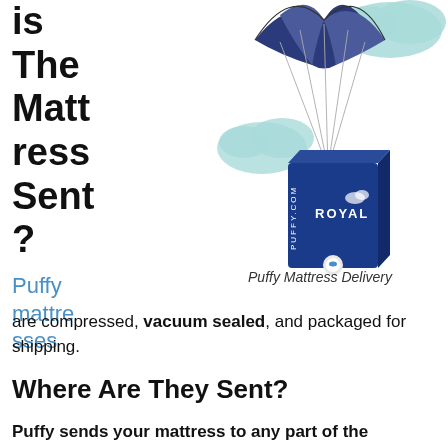is The Mattress Sent?
[Figure (illustration): Illustration of a Puffy Royal mattress box being delivered via parachute, with clouds in the background.]
Puffy Mattress Delivery
Puffy mattresses are compressed, vacuum sealed, and packaged for shipping.
Where Are They Sent?
Puffy sends your mattress to any part of the